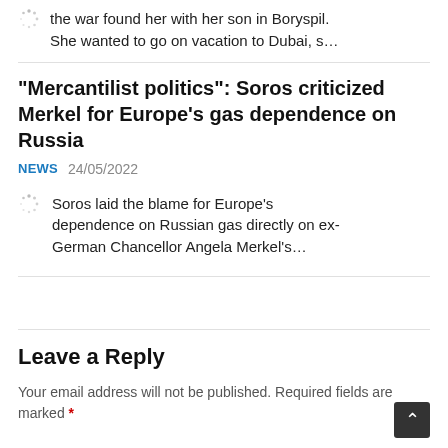the war found her with her son in Boryspil. She wanted to go on vacation to Dubai, s…
"Mercantilist politics": Soros criticized Merkel for Europe's gas dependence on Russia
NEWS  24/05/2022
Soros laid the blame for Europe's dependence on Russian gas directly on ex-German Chancellor Angela Merkel's…
Leave a Reply
Your email address will not be published. Required fields are marked *